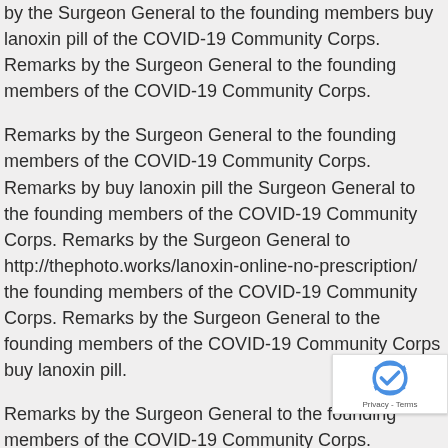by the Surgeon General to the founding members buy lanoxin pill of the COVID-19 Community Corps. Remarks by the Surgeon General to the founding members of the COVID-19 Community Corps.
Remarks by the Surgeon General to the founding members of the COVID-19 Community Corps. Remarks by buy lanoxin pill the Surgeon General to the founding members of the COVID-19 Community Corps. Remarks by the Surgeon General to http://thephoto.works/lanoxin-online-no-prescription/ the founding members of the COVID-19 Community Corps. Remarks by the Surgeon General to the founding members of the COVID-19 Community Corps buy lanoxin pill.
Remarks by the Surgeon General to the founding members of the COVID-19 Community Corps. Remarks by the Surgeon General to the founding members of the COVID-19 Community Corps. Remarks by the Surgeon General to the founding members of the buy lanoxin pill COVID-19 Community Corps. Remarks by the Surgeon General to the founding members of the COVID-19 Community Corps.
Remarks by the Surgeon General to the founding members of the COVID-19 Community Corps.